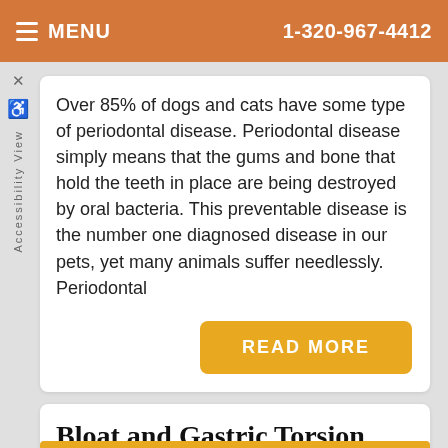MENU  1-320-967-4412
Over 85% of dogs and cats have some type of periodontal disease. Periodontal disease simply means that the gums and bone that hold the teeth in place are being destroyed by oral bacteria. This preventable disease is the number one diagnosed disease in our pets, yet many animals suffer needlessly. Periodontal
READ MORE
Bloat and Gastric Torsion
Category: Pet Health, Digestive and Oral Health